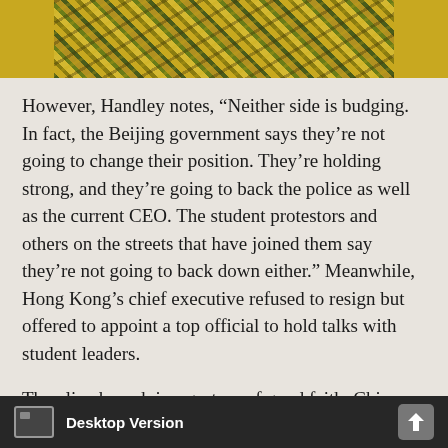[Figure (photo): Aerial or close-up photograph of a dense crowd of protesters, viewed from above, showing people packed closely together with yellow and green tones.]
However, Handley notes, “Neither side is budging. In fact, the Beijing government says they’re not going to change their position. They’re holding strong, and they’re going to back the police as well as the current CEO. The student protestors and others on the streets that have joined them say they’re not going to back down either.” Meanwhile, Hong Kong’s chief executive refused to resign but offered to appoint a top official to hold talks with student leaders.
The olive branch is a gesture of good faith. China was in the background issuing dire
Desktop Version